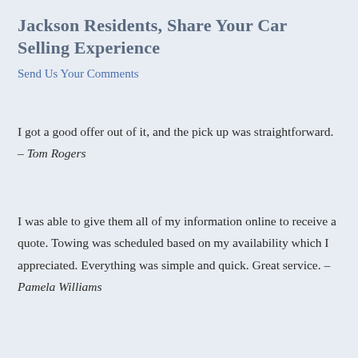Jackson Residents, Share Your Car Selling Experience
Send Us Your Comments
I got a good offer out of it, and the pick up was straightforward. – Tom Rogers
I was able to give them all of my information online to receive a quote. Towing was scheduled based on my availability which I appreciated. Everything was simple and quick. Great service. – Pamela Williams